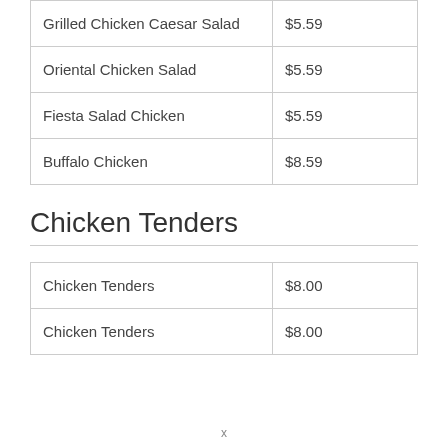| Item | Price |
| --- | --- |
| Grilled Chicken Caesar Salad | $5.59 |
| Oriental Chicken Salad | $5.59 |
| Fiesta Salad Chicken | $5.59 |
| Buffalo Chicken | $8.59 |
Chicken Tenders
| Item | Price |
| --- | --- |
| Chicken Tenders | $8.00 |
| Chicken Tenders | $8.00 |
x